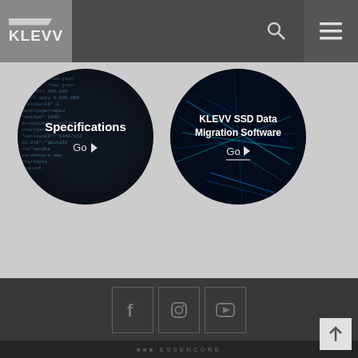[Figure (logo): KLEVV brand logo in grey header bar]
[Figure (illustration): Circular button with dark code background labelled Specifications with Go arrow]
[Figure (illustration): Circular button with blue circuit board background labelled KLEVV SSD Data Migration Software with Go arrow]
[Figure (infographic): Social media icon buttons for Facebook, Instagram, and YouTube in dark footer]
[Figure (illustration): Back to top arrow button and Essencore logo text at page bottom]